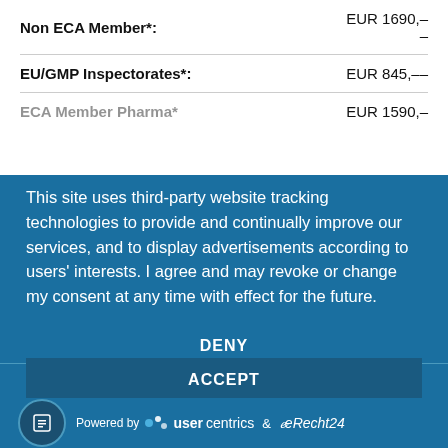| Non ECA Member*: | EUR 1690,–
– |
| EU/GMP Inspectorates*: | EUR 845,– |
| ECA Member Pharma*: | EUR 1590,– |
This site uses third-party website tracking technologies to provide and continually improve our services, and to display advertisements according to users' interests. I agree and may revoke or change my consent at any time with effect for the future.
DENY
ACCEPT
MORE
Powered by usercentrics & eRecht24